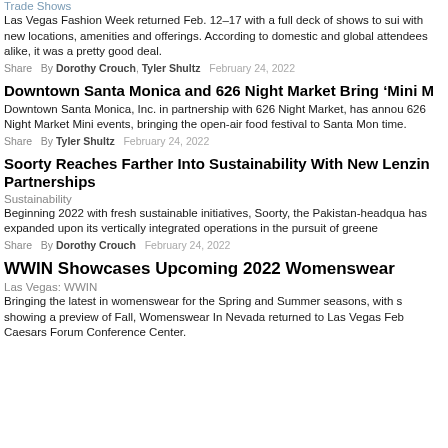Trade Shows
Las Vegas Fashion Week returned Feb. 12–17 with a full deck of shows to sui with new locations, amenities and offerings. According to domestic and global attendees alike, it was a pretty good deal.
Share   By Dorothy Crouch, Tyler Shultz   February 24, 2022
Downtown Santa Monica and 626 Night Market Bring 'Mini M
Downtown Santa Monica, Inc. in partnership with 626 Night Market, has annou 626 Night Market Mini events, bringing the open-air food festival to Santa Mon time.
Share   By Tyler Shultz   February 24, 2022
Soorty Reaches Farther Into Sustainability With New Lenzin Partnerships
Sustainability
Beginning 2022 with fresh sustainable initiatives, Soorty, the Pakistan-headqua has expanded upon its vertically integrated operations in the pursuit of greene
Share   By Dorothy Crouch   February 24, 2022
WWIN Showcases Upcoming 2022 Womenswear
Las Vegas: WWIN
Bringing the latest in womenswear for the Spring and Summer seasons, with s showing a preview of Fall, Womenswear In Nevada returned to Las Vegas Feb Caesars Forum Conference Center.